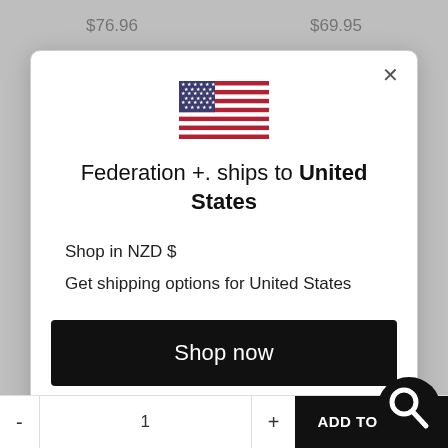$76.96
$69.95
[Figure (screenshot): Modal dialog with US flag, shipping info, shop now button, and change shipping country link]
Federation +. ships to United States
Shop in NZD $
Get shipping options for United States
Shop now
Change shipping country